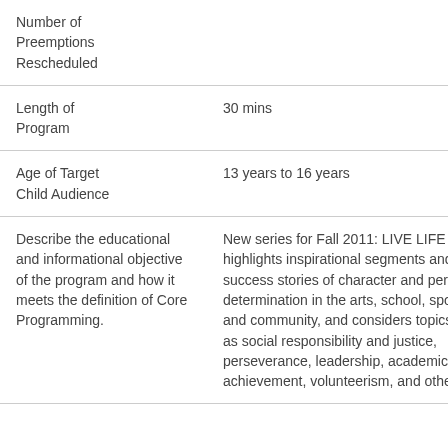| Number of Preemptions Rescheduled |  |
| Length of Program | 30 mins |
| Age of Target Child Audience | 13 years to 16 years |
| Describe the educational and informational objective of the program and how it meets the definition of Core Programming. | New series for Fall 2011: LIVE LIFE & WIN highlights inspirational segments and teen success stories of character and personal determination in the arts, school, sports, and community, and considers topics such as social responsibility and justice, perseverance, leadership, academic achievement, volunteerism, and other life |